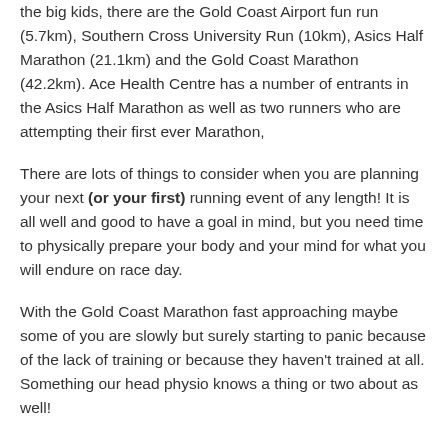the big kids, there are the Gold Coast Airport fun run (5.7km), Southern Cross University Run (10km), Asics Half Marathon (21.1km) and the Gold Coast Marathon (42.2km). Ace Health Centre has a number of entrants in the Asics Half Marathon as well as two runners who are attempting their first ever Marathon,
There are lots of things to consider when you are planning your next (or your first) running event of any length! It is all well and good to have a goal in mind, but you need time to physically prepare your body and your mind for what you will endure on race day.
With the Gold Coast Marathon fast approaching maybe some of you are slowly but surely starting to panic because of the lack of training or because they haven't trained at all. Something our head physio knows a thing or two about as well!